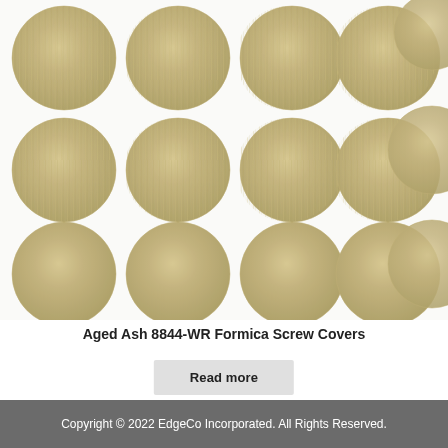[Figure (photo): Grid of circular wood-grain screw covers (Aged Ash finish) arranged in 4 rows of 5 columns on a white background]
Aged Ash 8844-WR Formica Screw Covers
Read more
Copyright © 2022 EdgeCo Incorporated. All Rights Reserved.